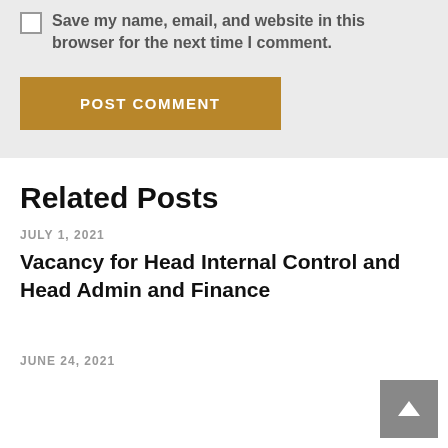Save my name, email, and website in this browser for the next time I comment.
POST COMMENT
Related Posts
JULY 1, 2021
Vacancy for Head Internal Control and Head Admin and Finance
JUNE 24, 2021